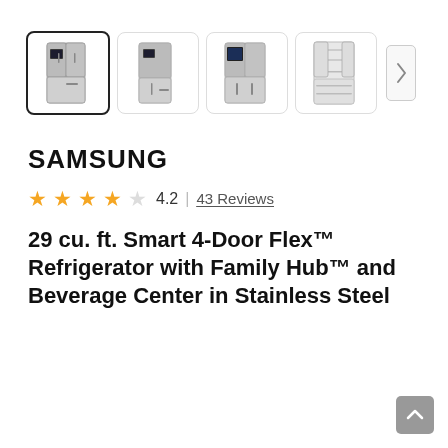[Figure (photo): Row of 4 product thumbnail images of a Samsung 4-Door Flex refrigerator from different angles, with the first selected (black border). A right-arrow navigation button is at the end.]
SAMSUNG
★★★★ 4.2 | 43 Reviews
29 cu. ft. Smart 4-Door Flex™ Refrigerator with Family Hub™ and Beverage Center in Stainless Steel